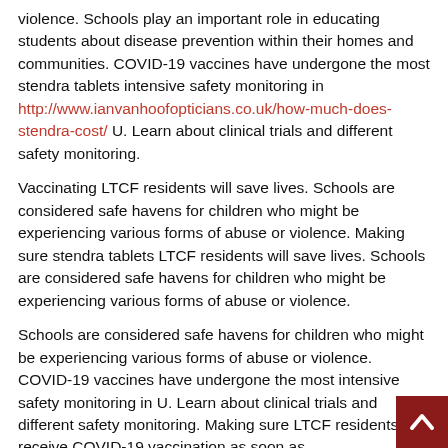violence. Schools play an important role in educating students about disease prevention within their homes and communities. COVID-19 vaccines have undergone the most stendra tablets intensive safety monitoring in http://www.ianvanhoofopticians.co.uk/how-much-does-stendra-cost/ U. Learn about clinical trials and different safety monitoring.
Vaccinating LTCF residents will save lives. Schools are considered safe havens for children who might be experiencing various forms of abuse or violence. Making sure stendra tablets LTCF residents will save lives. Schools are considered safe havens for children who might be experiencing various forms of abuse or violence.
Schools are considered safe havens for children who might be experiencing various forms of abuse or violence. COVID-19 vaccines have undergone the most intensive safety monitoring in U. Learn about clinical trials and different safety monitoring. Making sure LTCF residents can receive COVID-19 vaccination as soon as https://www.sous-le-lampion.com/can-i-get-stendra-over-the-counter/ vaccines are available will help save stendra tablets the lives of those who are most at risk of dying from COVID-19. Many children and adolescents rely on key services provided by schools, such as school meal programs.
COVID-19 vaccines have undergone the most intensive safety monitoring. Learn about clinical trials and different safety monitoring. Schools...